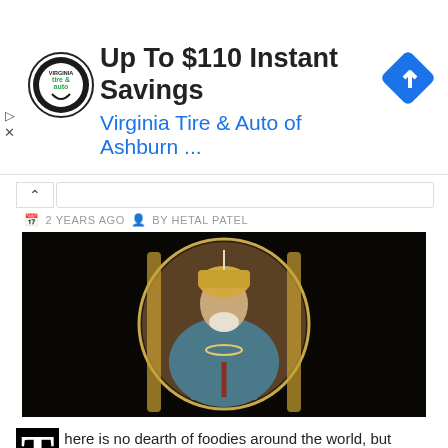[Figure (advertisement): Ad banner for Virginia Tire & Auto of Ashburn with circular logo, bold headline 'Up To $110 Instant Savings', subtitle 'Virginia Tire & Auto of Ashburn ...', and a blue diamond navigation icon]
2 YEARS AGO  BY HETAL PATEL
[Figure (photo): Circular portrait painting of a Mughal emperor wearing ornate robes and jewelry, seated on a throne with gold pillars, on a black background]
T here is no dearth of foodies around the world, but eating around 35 kg every day is